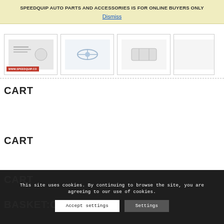SPEEDQUIP AUTO PARTS AND ACCESSORIES IS FOR ONLINE BUYERS ONLY
Dismiss
[Figure (photo): Row of auto part product thumbnail images]
CART
CART
CART
BASKET:C
This site uses cookies. By continuing to browse the site, you are agreeing to our use of cookies.
Accept settings
Settings